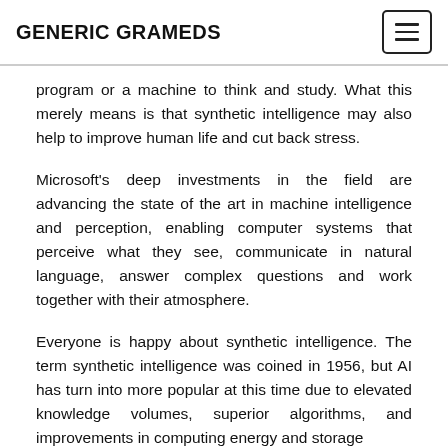GENERIC GRAMEDS
program or a machine to think and study. What this merely means is that synthetic intelligence may also help to improve human life and cut back stress.
Microsoft's deep investments in the field are advancing the state of the art in machine intelligence and perception, enabling computer systems that perceive what they see, communicate in natural language, answer complex questions and work together with their atmosphere.
Everyone is happy about synthetic intelligence. The term synthetic intelligence was coined in 1956, but AI has turn into more popular at this time due to elevated knowledge volumes, superior algorithms, and improvements in computing energy and storage